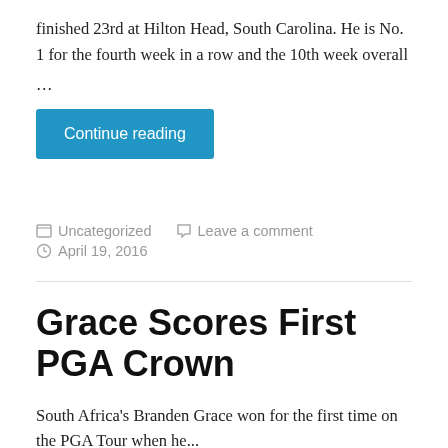finished 23rd at Hilton Head, South Carolina. He is No. 1 for the fourth week in a row and the 10th week overall
...
Continue reading
Uncategorized   Leave a comment
April 19, 2016
Grace Scores First PGA Crown
South Africa's Branden Grace won for the first time on the PGA Tour when he...